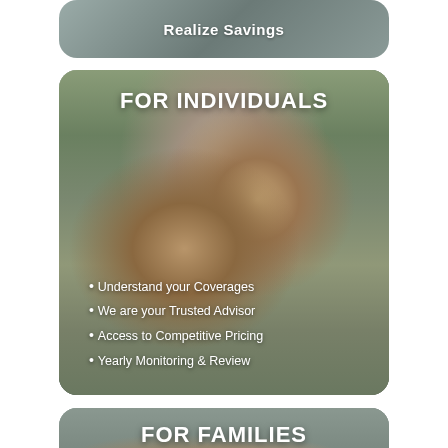[Figure (photo): Partial top card showing text 'Realize Savings' over a photo background]
[Figure (photo): Card showing a happy couple outdoors, man giving woman a piggyback ride, with heading FOR INDIVIDUALS and bullet points]
FOR INDIVIDUALS
Understand your Coverages
We are your Trusted Advisor
Access to Competitive Pricing
Yearly Monitoring & Review
[Figure (photo): Partial bottom card showing FOR FAMILIES heading over a family photo]
FOR FAMILIES